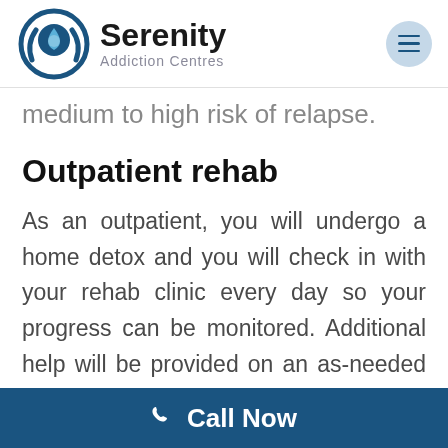[Figure (logo): Serenity Addiction Centres logo with circular blue emblem containing a water drop and hands, alongside the brand name 'Serenity Addiction Centres']
medium to high risk of relapse.
Outpatient rehab
As an outpatient, you will undergo a home detox and you will check in with your rehab clinic every day so your progress can be monitored. Additional help will be provided on an as-needed basis.
Call Now